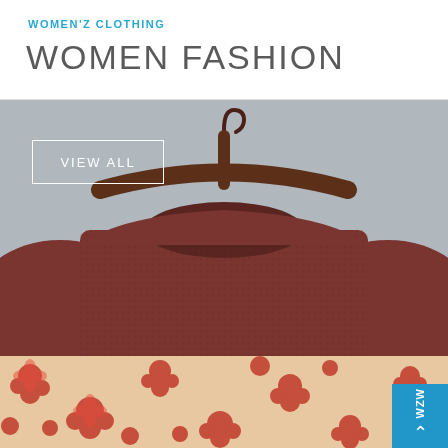WOMEN'Z CLOTHING
WOMEN FASHION
[Figure (photo): A dark reddish-brown knit sweater on a wooden hanger against a grey background, with a 'VIEW ALL' button overlay]
[Figure (photo): Close-up of a red floral patterned fabric, with a blue logo badge in the bottom right corner showing 'WZW' and an upward arrow]